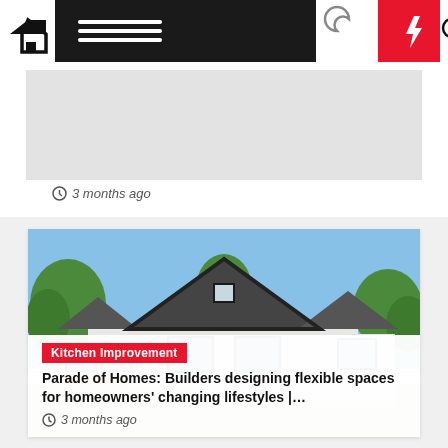[Figure (screenshot): Website navigation bar with home icon, hamburger menu on dark background, moon icon, red lightning bolt icon, and search icon]
3 months ago
[Figure (photo): Modern farmhouse-style home with dark roofline, white siding, large windows, and green trees in background]
Kitchen Improvement
Parade of Homes: Builders designing flexible spaces for homeowners' changing lifestyles |…
3 months ago